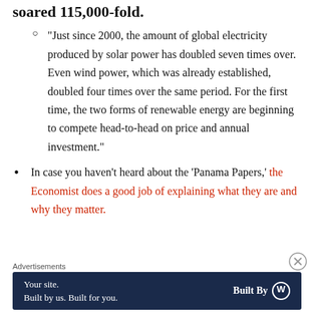soared 115,000-fold.
“Just since 2000, the amount of global electricity produced by solar power has doubled seven times over. Even wind power, which was already established, doubled four times over the same period. For the first time, the two forms of renewable energy are beginning to compete head-to-head on price and annual investment.”
In case you haven’t heard about the ‘Panama Papers,’ the Economist does a good job of explaining what they are and why they matter.
Advertisements
[Figure (other): Advertisement banner: dark navy background. Left: 'Your site. Built by us. Built for you.' Right: 'Built By' with WordPress circular logo icon.]